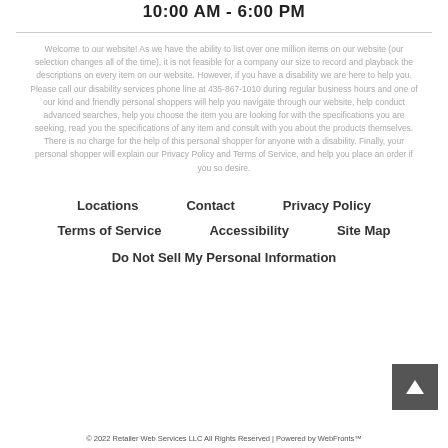10:00 AM - 6:00 PM
Welcome to our website! As we have the ability to list over one million items on our website (our selection changes all of the time), it is not feasible for a company our size to record and playback the descriptions on every item on our website. However, if you have a disability we are here to help you. Please call our disability services phone line at 435-867-1010 during regular business hours and one of our kind and friendly personal shoppers will help you navigate through our website, help conduct advanced searches, help you choose the item you are looking for with the specifications you are seeking, read you the specifications of any item and consult with you about the products themselves. There is no charge for the help of this personal shopper for anyone with a disability. Finally, your personal shopper will explain our Privacy Policy and Terms of Service, and help you place an order if you so desire.
Locations
Contact
Privacy Policy
Terms of Service
Accessibility
Site Map
Do Not Sell My Personal Information
© 2022 Retailer Web Services LLC All Rights Reserved | Powered by WebFronts™